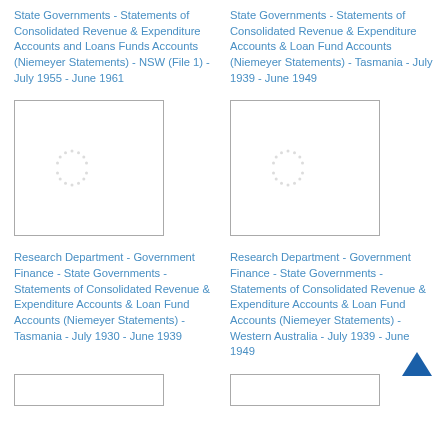State Governments - Statements of Consolidated Revenue & Expenditure Accounts and Loans Funds Accounts (Niemeyer Statements) - NSW (File 1) - July 1955 - June 1961
State Governments - Statements of Consolidated Revenue & Expenditure Accounts & Loan Fund Accounts (Niemeyer Statements) - Tasmania - July 1939 - June 1949
[Figure (other): Document thumbnail placeholder with loading spinner]
[Figure (other): Document thumbnail placeholder with loading spinner]
Research Department - Government Finance - State Governments - Statements of Consolidated Revenue & Expenditure Accounts & Loan Fund Accounts (Niemeyer Statements) - Tasmania - July 1930 - June 1939
Research Department - Government Finance - State Governments - Statements of Consolidated Revenue & Expenditure Accounts & Loan Fund Accounts (Niemeyer Statements) - Western Australia - July 1939 - June 1949
[Figure (other): Partial document thumbnail placeholder at bottom left]
[Figure (other): Partial document thumbnail placeholder at bottom right]